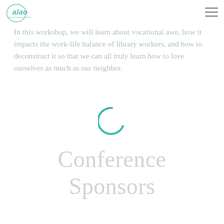alao
In this workshop, we will learn about vocational awe, how it impacts the work-life balance of library workers, and how to deconstruct it so that we can all truly learn how to love ourselves as much as our neighbor.
[Figure (other): Loading spinner - a teal/green partial circle arc indicating content is loading]
Conference Sponsors